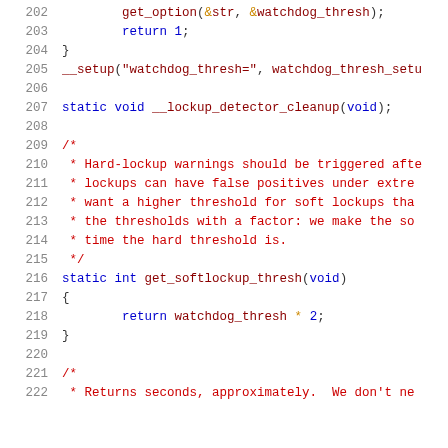Source code listing, lines 202-222, C kernel code for watchdog/lockup detector
202: get_option(&str, &watchdog_thresh);
203: return 1;
204: }
205: __setup("watchdog_thresh=", watchdog_thresh_setu
206: (blank)
207: static void __lockup_detector_cleanup(void);
208: (blank)
209: /*
210:  * Hard-lockup warnings should be triggered afte
211:  * lockups can have false positives under extre
212:  * want a higher threshold for soft lockups tha
213:  * the thresholds with a factor: we make the so
214:  * time the hard threshold is.
215:  */
216: static int get_softlockup_thresh(void)
217: {
218:     return watchdog_thresh * 2;
219: }
220: (blank)
221: /*
222:  * Returns seconds, approximately.  We don't ne